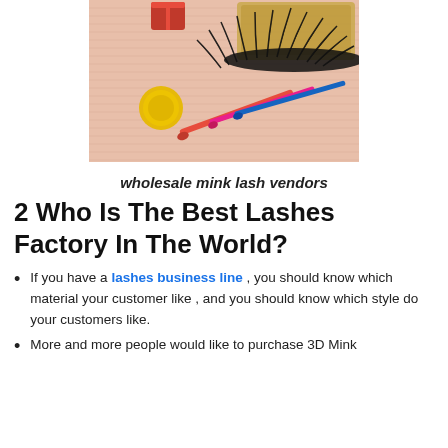[Figure (photo): Product photo of wholesale mink lashes on a pink striped background, with a golden wax seal, red gift box, mascara wands (red, pink, blue), and false lashes in a gold box.]
wholesale mink lash vendors
2 Who Is The Best Lashes Factory In The World?
If you have a lashes business line , you should know which material your customer like , and you should know which style do your customers like.
More and more people would like to purchase 3D Mink